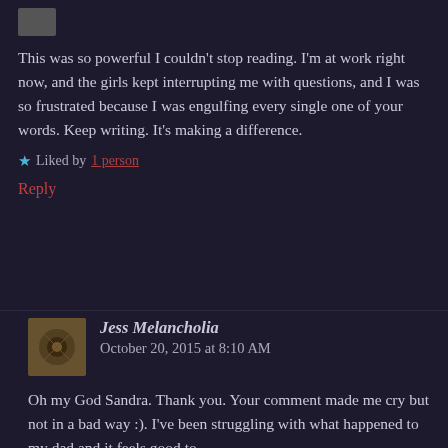[Figure (photo): Small avatar image partially visible at top]
This was so powerful I couldn't stop reading. I'm at work right now, and the girls kept interrupting me with questions, and I was so frustrated because I was engulfing every single one of your words. Keep writing. It's making a difference.
★ Liked by 1 person
Reply
[Figure (photo): Avatar image for Jess Melancholia commenter]
Jess Melancholia   October 20, 2015 at 8:10 AM
Oh my God Sandra. Thank you. Your comment made me cry but not in a bad way :). I've been struggling with what happened to my dad and it feels good to